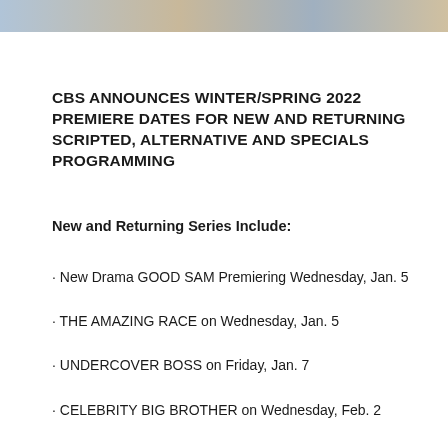[Figure (photo): Horizontal photo strip at top of page showing partial images of people or TV show cast members]
CBS ANNOUNCES WINTER/SPRING 2022 PREMIERE DATES FOR NEW AND RETURNING SCRIPTED, ALTERNATIVE AND SPECIALS PROGRAMMING
New and Returning Series Include:
· New Drama GOOD SAM Premiering Wednesday, Jan. 5
· THE AMAZING RACE on Wednesday, Jan. 5
· UNDERCOVER BOSS on Friday, Jan. 7
· CELEBRITY BIG BROTHER on Wednesday, Feb. 2